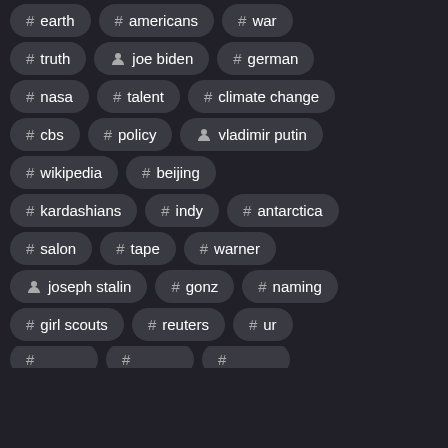# earth, # americans, # war
# truth, person joe biden, # german
# nasa, # talent, # climate change
# cbs, # policy, person vladimir putin
# wikipedia, # beijing
# kardashians, # indy, # antarctica
# salon, # tape, # warner
person joseph stalin, # gonz, # naming
# girl scouts, # reuters, # ur